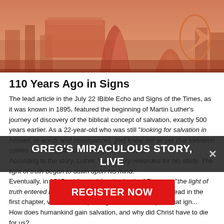[Figure (photo): Hero image with warm reddish-orange tones showing a cityscape and architectural elements, possibly Middle Eastern or futuristic religious buildings]
110 Years Ago in Signs
The lead article in the July 22 IBible Echo and Signs of the Times, as it was known in 1895, featured the beginning of Martin Luther's journey of discovery of the biblical concept of salvation, exactly 500 years earlier. As a 22-year-old who was still "looking for salvation in himself, in words and observances, [he] knew not as yet that salvation comes as a free gift from God by faith in Jesus." According to the story, Luther "was amply rewarded for his study. The light of truth began to dawn upon his mind." Eventually, in 1515, while studying the book of Romans, "the light of truth entered his heart: 'The just shall live by faith,' " he read in the first chapter, verse 17, the passage that was the spark that ign... How does humankind gain salvation, and why did Christ have to die for us?
GREG'S MIRACULOUS STORY, LIVE
REGISTER NOW